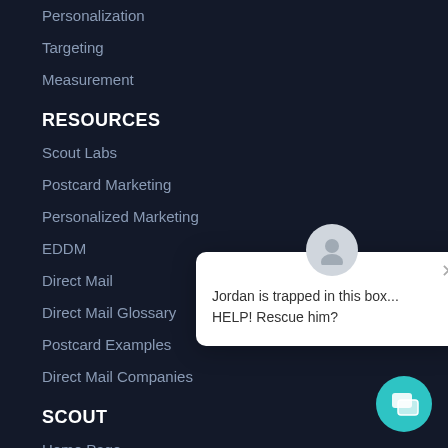Personalization
Targeting
Measurement
RESOURCES
Scout Labs
Postcard Marketing
Personalized Marketing
EDDM
Direct Mail
Direct Mail Glossary
Postcard Examples
Direct Mail Companies
SCOUT
Home Page
About Scout
[Figure (screenshot): Chat popup with avatar icon, close button, and text: Jordan is trapped in this box... HELP! Rescue him?]
CONTACT JORDAN NOW